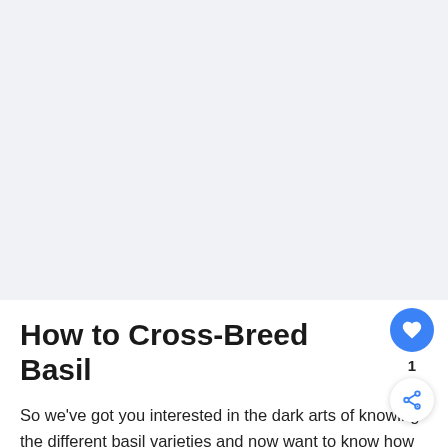[Figure (other): Large white/light gray empty space placeholder area at the top of the page (likely an advertisement or image placeholder)]
How to Cross-Breed Basil
So we've got you interested in the dark arts of knowing the different basil varieties and now want to know how to grow your own basil. Lucky for you, YourIndoorHerbs has several articles ranging from